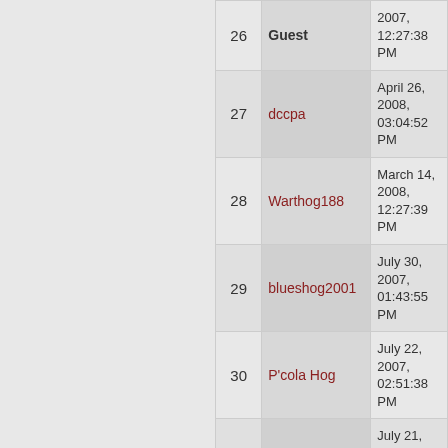| # | Name | Date |
| --- | --- | --- |
| 26 | Guest | 2007, 12:27:38 PM |
| 27 | dccpa | April 26, 2008, 03:04:52 PM |
| 28 | Warthog188 | March 14, 2008, 12:27:39 PM |
| 29 | blueshog2001 | July 30, 2007, 01:43:55 PM |
| 30 | P'cola Hog | July 22, 2007, 02:51:38 PM |
| 31 | P'cola Hog | July 21, 2007, 06:25:07 PM |
| 32 | Spam Malone | July 19, 2007, 07:06:57 PM |